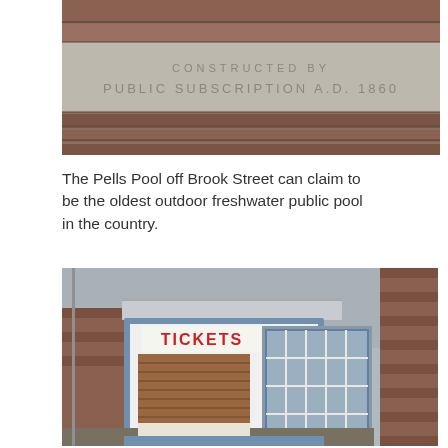[Figure (photo): Close-up photo of a stone plaque embedded in a brick wall reading 'CONSTRUCTED BY PUBLIC SUBSCRIPTION A.D. 1860']
The Pells Pool off Brook Street can claim to be the oldest outdoor freshwater public pool in the country.
[Figure (photo): Photo of a brick building entrance with a ticket booth, featuring a brown roller shutter door with a red 'TICKETS' sign above it, blue-framed windows with metal bars on the right, and bare trees visible in the background.]